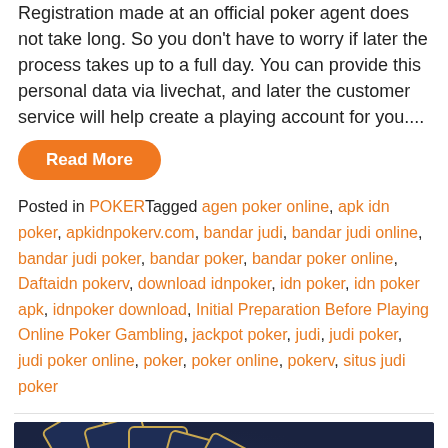Registration made at an official poker agent does not take long. So you don't have to worry if later the process takes up to a full day. You can provide this personal data via livechat, and later the customer service will help create a playing account for you....
Read More
Posted in POKERTagged agen poker online, apk idn poker, apkidnpokerv.com, bandar judi, bandar judi online, bandar judi poker, bandar poker, bandar poker online, Daftaidn pokerv, download idnpoker, idn poker, idn poker apk, idnpoker download, Initial Preparation Before Playing Online Poker Gambling, jackpot poker, judi, judi poker, judi poker online, poker, poker online, pokerv, situs judi poker
[Figure (photo): Dark blue banner image showing golden playing cards fanned out with suit symbols visible and the text POKER at the bottom right in gold letters]